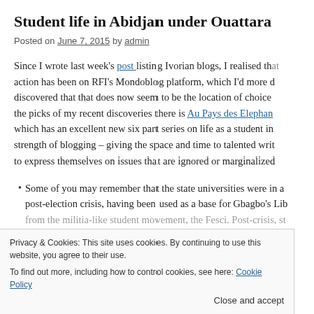Student life in Abidjan under Ouattara
Posted on June 7, 2015 by admin
Since I wrote last week's post listing Ivorian blogs, I realised that action has been on RFI's Mondoblog platform, which I'd more discovered that that does now seem to be the location of choice the picks of my recent discoveries there is Au Pays des Elephan which has an excellent new six part series on life as a student in strength of blogging – giving the space and time to talented wri to express themselves on issues that are ignored or marginalized
Some of you may remember that the state universities were in a post-election crisis, having been used as a base for Gbagbo's Li from the militia-like student movement, the Fesci. Post-crisis, s Ouattara forces, and indeed some of these irregular forces have the universities. The Ouattara Government refurbishment (reportedly around 100 billion CFA francs), whi (as I documented here), but which has still left things far from s money was diverted. It's possible to conclude from reading this
Privacy & Cookies: This site uses cookies. By continuing to use this website, you agree to their use.
To find out more, including how to control cookies, see here: Cookie Policy
Close and accept